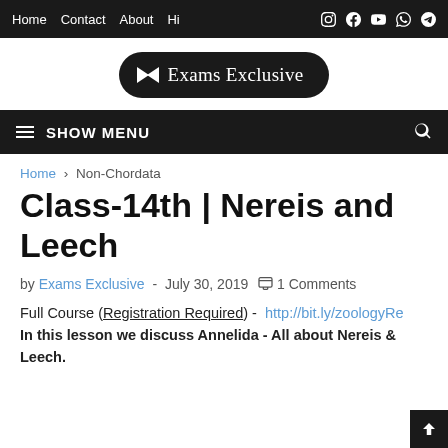Home  Contact  About  Hi
[Figure (logo): Exams Exclusive logo — white bowtie icon with brand name in blackletter font on black pill-shaped background]
≡ SHOW MENU
Home › Non-Chordata
Class-14th | Nereis and Leech
by Exams Exclusive - July 30, 2019  1 Comments
Full Course (Registration Required) - http://bit.ly/zoologyRe… In this lesson we discuss Annelida - All about Nereis & Leech.